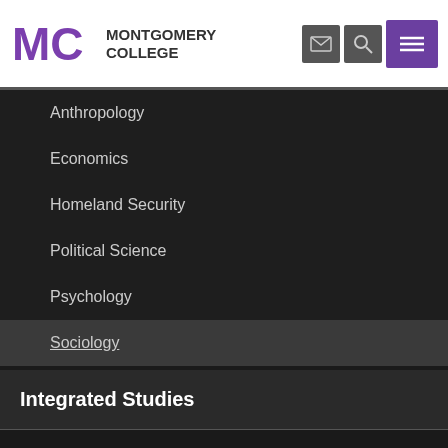[Figure (logo): Montgomery College logo with MC initials in purple and text MONTGOMERY COLLEGE]
Anthropology
Economics
Homeland Security
Political Science
Psychology
Sociology
Integrated Studies